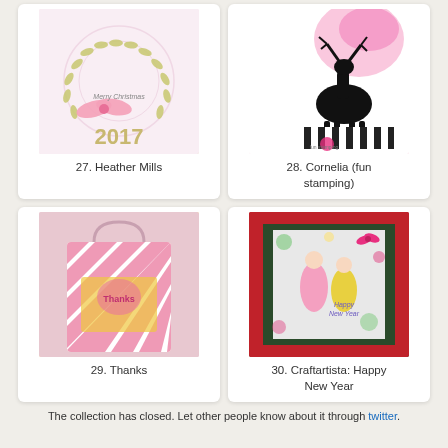[Figure (photo): Handmade Christmas card with gold laurel wreath, pink ribbon bow, and '2017' text. Item 27.]
27. Heather Mills
[Figure (photo): Handmade card with black reindeer silhouette on pink-red gradient background with striped border. Item 28.]
28. Cornelia (fun stamping)
[Figure (photo): Pink and white striped gift bag with gold foil and pink decorative element. Item 29.]
29. Thanks
[Figure (photo): Red-bordered card with illustrated fashionable women and 'Happy New Year' text. Item 30.]
30. Craftartista: Happy New Year
The collection has closed. Let other people know about it through twitter.